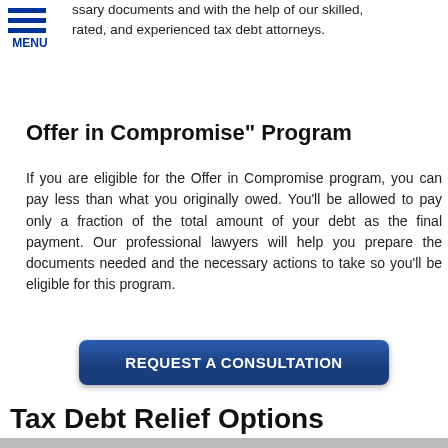ssary documents and with the help of our skilled, rated, and experienced tax debt attorneys.
MENU
Offer in Compromise" Program
If you are eligible for the Offer in Compromise program, you can pay less than what you originally owed. You'll be allowed to pay only a fraction of the total amount of your debt as the final payment. Our professional lawyers will help you prepare the documents needed and the necessary actions to take so you'll be eligible for this program.
[Figure (other): Blue button labeled REQUEST A CONSULTATION]
Tax Debt Relief Options
[Figure (photo): Photo of a professional in a suit, partially visible, with two circular icon buttons (phone and email) overlaid in the bottom right corner]